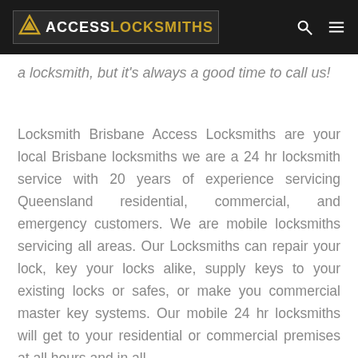ACCESS LOCKSMITHS
a locksmith, but it's always a good time to call us!
Locksmith Brisbane Access Locksmiths are your local Brisbane locksmiths we are a 24 hr locksmith service with 20 years of experience servicing Queensland residential, commercial, and emergency customers. We are mobile locksmiths servicing all areas. Our Locksmiths can repair your lock, key your locks alike, supply keys to your existing locks or safes, or make you commercial master key systems. Our mobile 24 hr locksmiths will get to your residential or commercial premises at all hours and in all